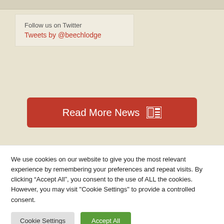Follow us on Twitter
Tweets by @beechlodge
[Figure (other): Red rounded button labeled 'Read More News' with a newspaper icon]
We use cookies on our website to give you the most relevant experience by remembering your preferences and repeat visits. By clicking “Accept All”, you consent to the use of ALL the cookies. However, you may visit "Cookie Settings" to provide a controlled consent.
Cookie Settings | Accept All